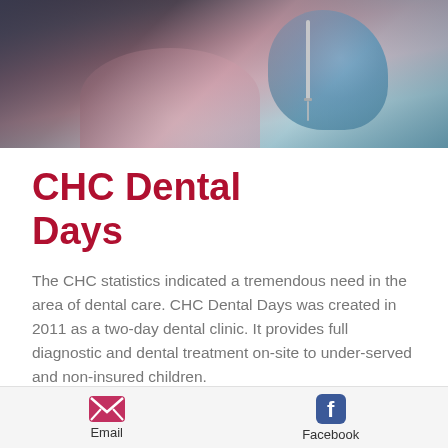[Figure (photo): Dental professional wearing blue gloves performing a dental procedure on a patient]
CHC Dental Days
The CHC statistics indicated a tremendous need in the area of dental care. CHC Dental Days was created in 2011 as a two-day dental clinic. It provides full diagnostic and dental treatment on-site to under-served and non-insured children.
The event is held twice a year on Saturdays at Midtown Community Health Center in partnership with the Weber State University Dental Hygiene Program
Email   Facebook